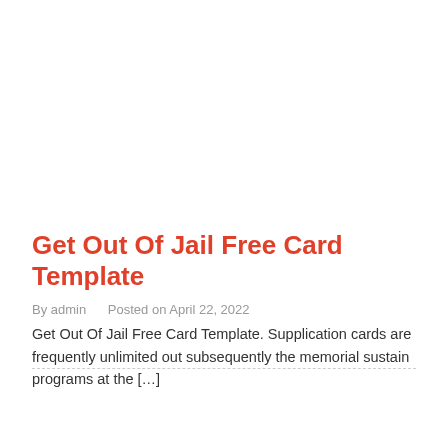Get Out Of Jail Free Card Template
By admin    Posted on April 22, 2022
Get Out Of Jail Free Card Template. Supplication cards are frequently unlimited out subsequently the memorial sustain programs at the […]